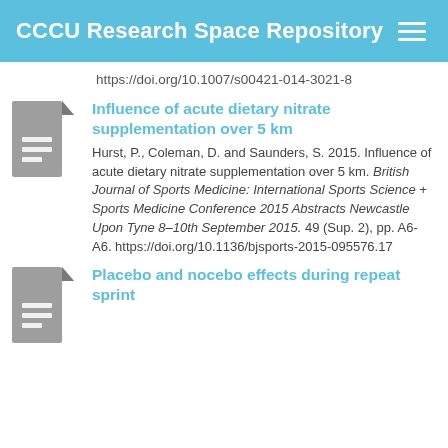CCCU Research Space Repository
https://doi.org/10.1007/s00421-014-3021-8
Influence of acute dietary nitrate supplementation over 5 km
Hurst, P., Coleman, D. and Saunders, S. 2015. Influence of acute dietary nitrate supplementation over 5 km. British Journal of Sports Medicine: International Sports Science + Sports Medicine Conference 2015 Abstracts Newcastle Upon Tyne 8–10th September 2015. 49 (Sup. 2), pp. A6-A6. https://doi.org/10.1136/bjsports-2015-095576.17
Placebo and nocebo effects during repeat sprint